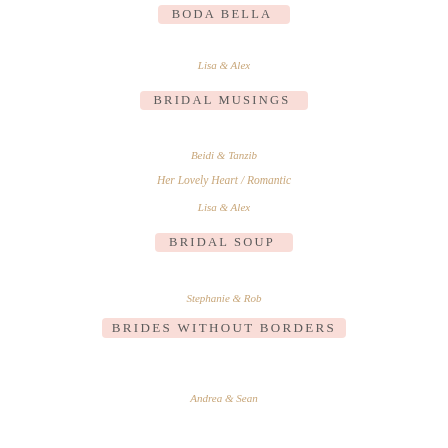BODA BELLA
Lisa & Alex
BRIDAL MUSINGS
Beidi & Tanzib
Her Lovely Heart / Romantic
Lisa & Alex
BRIDAL SOUP
Stephanie & Rob
BRIDES WITHOUT BORDERS
Andrea & Sean